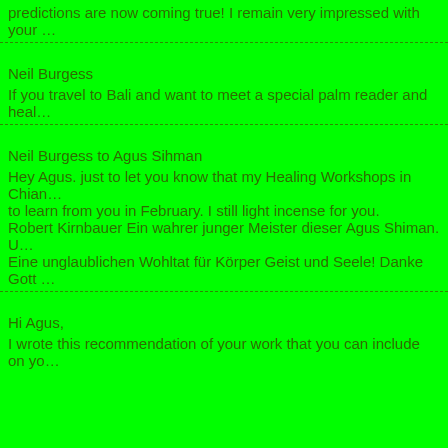predictions are now coming true! I remain very impressed with your …
Neil Burgess
If you travel to Bali and want to meet a special palm reader and heal…
Neil Burgess to Agus Sihman
Hey Agus. just to let you know that my Healing Workshops in Chian… to learn from you in February. I still light incense for you.
Robert Kirnbauer Ein wahrer junger Meister dieser Agus Shiman. U… Eine unglaublichen Wohltat für Körper Geist und Seele! Danke Gott …
Hi Agus,
I wrote this recommendation of your work that you can include on yo…